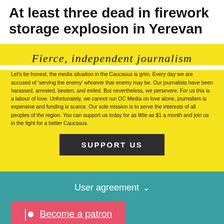At least three dead in firework storage explosion in Yerevan
Fierce, independent journalism
Let's be honest, the media situation in the Caucasus is grim. Every day we are accused of 'serving the enemy' whoever that enemy may be. Our journalists have been harassed, arrested, beaten, and exiled. But nevertheless, we persevere. For us this is a labour of love. Unfortunately, we cannot run OC Media on love alone, journalism is expensive and funding is scarce. Our sole mission is to serve the interests of all peoples of the region. You can support us today for as little as $1 a month and join us in the fight for a better Caucasus.
SUPPORT US
User agreement
Become a patron
Subscribe to our newsletter